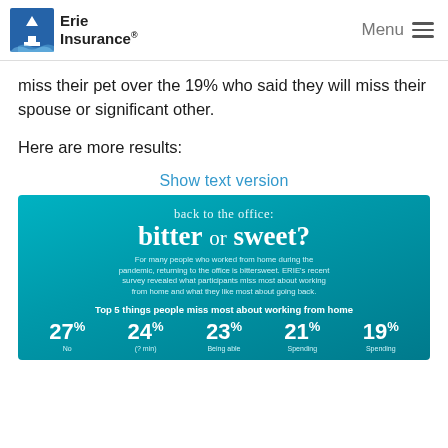Erie Insurance | Menu
miss their pet over the 19% who said they will miss their spouse or significant other.
Here are more results:
Show text version
[Figure (infographic): Erie Insurance infographic titled 'back to the office: bitter or sweet?' on a teal/blue gradient background. Includes subtitle text about pandemic working from home survey. Shows 'Top 5 things people miss most about working from home' with percentages: 27%, 24%, 23%, 21%, 19% with labels No, (something), Being able, Spending, Spending.]